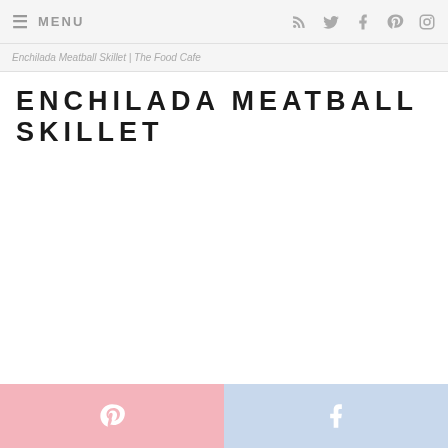≡ MENU  [RSS] [Twitter] [Facebook] [Pinterest] [Instagram]
Enchilada Meatball Skillet | The Food Cafe
ENCHILADA MEATBALL SKILLET
[Figure (other): Pinterest share button (pink)]
[Figure (other): Facebook share button (light blue)]